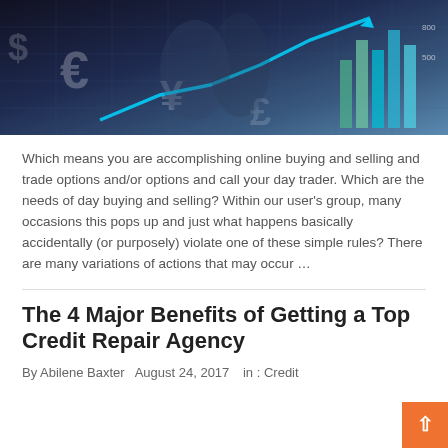[Figure (photo): Financial trading concept image with currency symbols (Euro, Yen, Dollar), a glowing blue rising chart arrow, bar charts, and digital world map overlay on dark background with people in background]
Which means you are accomplishing online buying and selling and trade options and/or options and call your day trader. Which are the needs of day buying and selling? Within our user’s group, many occasions this pops up and just what happens basically accidentally (or purposely) violate one of these simple rules? There are many variations of actions that may occur …
The 4 Major Benefits of Getting a Top Credit Repair Agency
By Abilene Baxter   August 24, 2017   in : Credit